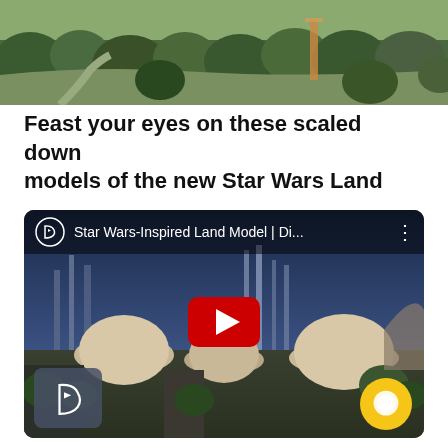[Figure (photo): Aerial view of a construction/landscape site with trees and terrain visible from above]
Feast your eyes on these scaled down models of the new Star Wars Land
[Figure (screenshot): YouTube video embed showing Star Wars-Inspired Land Model | Di... with Disney logo, a play button overlay, Star Wars alien landscape scene, Disney channel logo bottom left, and yellow chat bubble bottom right]